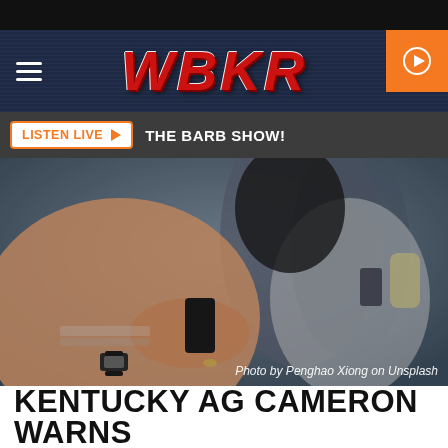[Figure (screenshot): WBKR radio station website screenshot showing header with hamburger menu, WBKR logo, and orange play button; a Listen Live button with 'THE BARB SHOW!' text; a photo of people using smartphones with credit 'Photo by Penghao Xiong on Unsplash'; and a partial headline 'KENTUCKY AG CAMERON WARNS']
WBKR
LISTEN LIVE ▶  THE BARB SHOW!
Photo by Penghao Xiong on Unsplash
KENTUCKY AG CAMERON WARNS